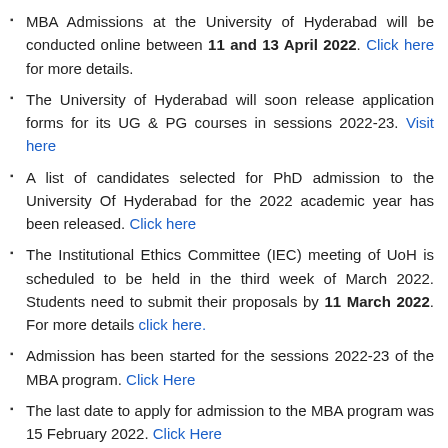MBA Admissions at the University of Hyderabad will be conducted online between 11 and 13 April 2022. Click here for more details.
The University of Hyderabad will soon release application forms for its UG & PG courses in sessions 2022-23. Visit here
A list of candidates selected for PhD admission to the University Of Hyderabad for the 2022 academic year has been released. Click here
The Institutional Ethics Committee (IEC) meeting of UoH is scheduled to be held in the third week of March 2022. Students need to submit their proposals by 11 March 2022. For more details click here.
Admission has been started for the sessions 2022-23 of the MBA program. Click Here
The last date to apply for admission to the MBA program was 15 February 2022. Click Here